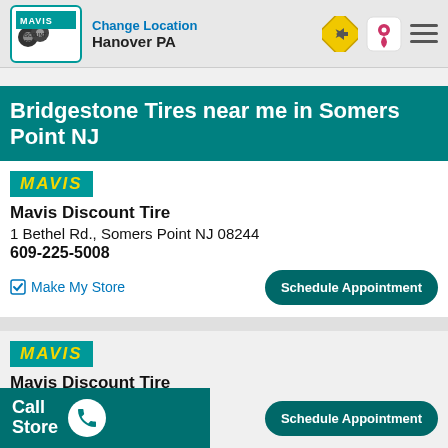Change Location Hanover PA
Bridgestone Tires near me in Somers Point NJ
Mavis Discount Tire
1 Bethel Rd., Somers Point NJ 08244
609-225-5008
Make My Store
Schedule Appointment
Mavis Discount Tire
122 South Shore Rd., Marmora NJ 08223
609-736-2200
Schedule Appointment
Call Store